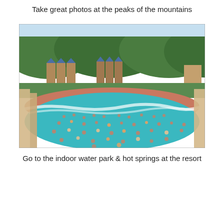Take great photos at the peaks of the mountains
[Figure (photo): Outdoor water park with a large wave pool filled with many swimmers. Resort hotel buildings with blue rooftops are visible in the background, set against green forested mountains. The pool has turquoise water with a sandy/reddish pool deck area crowded with visitors. Ancient-style architectural columns frame the sides.]
Go to the indoor water park & hot springs at the resort